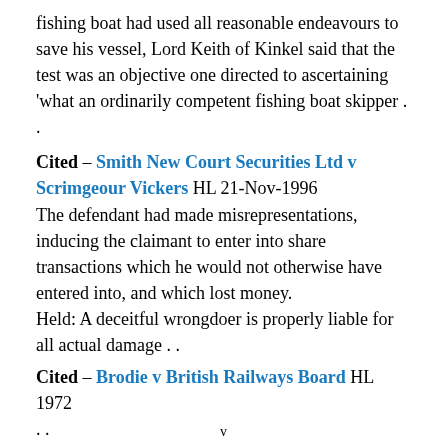fishing boat had used all reasonable endeavours to save his vessel, Lord Keith of Kinkel said that the test was an objective one directed to ascertaining 'what an ordinarily competent fishing boat skipper . .
Cited – Smith New Court Securities Ltd v Scrimgeour Vickers HL 21-Nov-1996
The defendant had made misrepresentations, inducing the claimant to enter into share transactions which he would not otherwise have entered into, and which lost money.
Held: A deceitful wrongdoer is properly liable for all actual damage . .
Cited – Brodie v British Railways Board HL 1972
. .
v